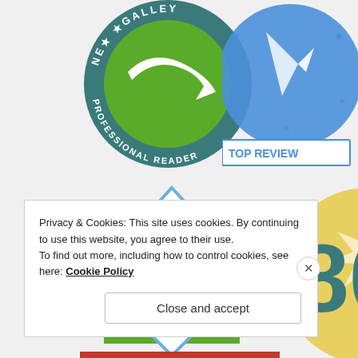[Figure (logo): NetGalley Professional Reader circular badge in teal and green]
[Figure (logo): Top Reviewer badge in blue with stars, partially visible]
[Figure (logo): 10 Reviews badge - diamond shape in blue on green square]
[Figure (logo): 80% badge in yellow/gold, partially visible]
Privacy & Cookies: This site uses cookies. By continuing to use this website, you agree to their use.
To find out more, including how to control cookies, see here: Cookie Policy
Close and accept